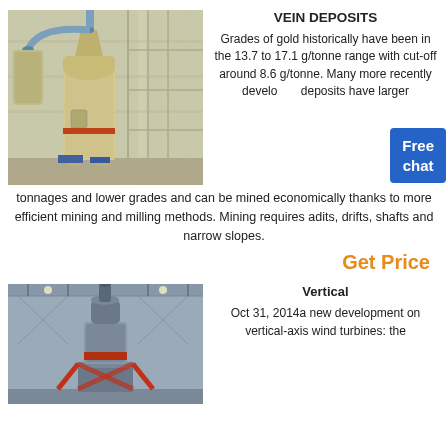[Figure (photo): Industrial milling machine with large cylindrical body and dust collection system in a factory setting]
VEIN DEPOSITS
Grades of gold historically have been in the 13.7 to 17.1 g/tonne range with cut-off around 8.6 g/tonne. Many more recently developed deposits have larger tonnages and lower grades and can be mined economically thanks to more efficient mining and milling methods. Mining requires adits, drifts, shafts and narrow slopes.
Get Price
[Figure (photo): Vertical axis industrial machine on a pedestal in a factory/warehouse setting]
Vertical
Oct 31, 2014a new development on vertical-axis wind turbines: the